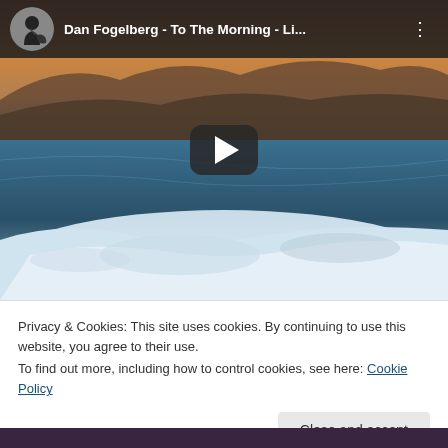[Figure (screenshot): YouTube video embed showing 'Dan Fogelberg - To The Morning - Li...' with a landscape thumbnail of an icy shore/water scene at sunset, a play button overlay, channel avatar, video title, and more options button]
Privacy & Cookies: This site uses cookies. By continuing to use this website, you agree to their use.
To find out more, including how to control cookies, see here: Cookie Policy
Close and accept